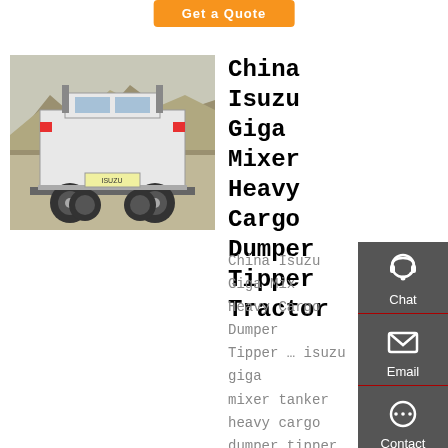Get a Quote
[Figure (photo): Rear view of a white heavy-duty tractor truck (Isuzu Giga) parked in an industrial area with mountains in the background.]
China Isuzu Giga Mixer Heavy Cargo Dumper Tipper Tractor
China Isuzu Giga Mixer Heavy Cargo Dumper Tipper … isuzu giga mixer tanker heavy cargo dumper tipper tractor dump truck new isuzu giga series heavy tractor truck started production since the